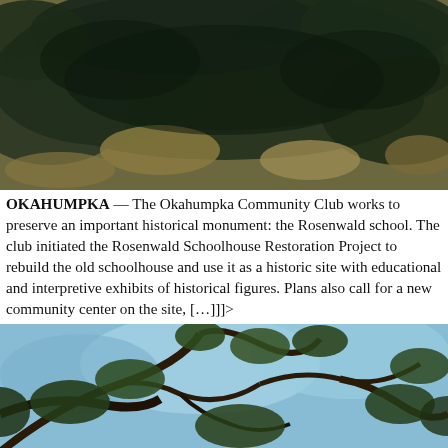[Figure (photo): Aerial or close-up photo of dark green dense foliage/treetops with some tan/brown ground patches visible, taken from above.]
OKAHUMPKA — The Okahumpka Community Club works to preserve an important historical monument: the Rosenwald school. The club initiated the Rosenwald Schoolhouse Restoration Project to rebuild the old schoolhouse and use it as a historic site with educational and interpretive exhibits of historical figures. Plans also call for a new community center on the site, […]]]>
[Figure (photo): Photo looking up through tree branches with blue sky visible between the leaves and branches.]